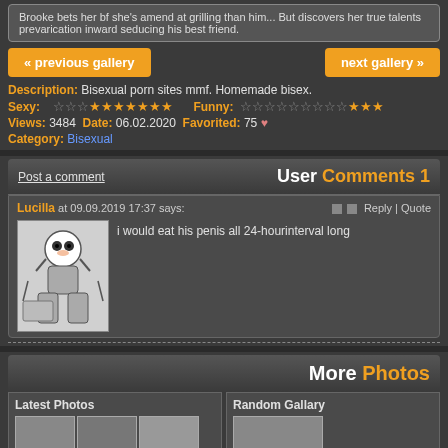Brooke bets her bf she's amend at grilling than him... But discovers her true talents prevarication inward seducing his best friend.
« previous gallery   next gallery »
Description: Bisexual porn sites mmf. Homemade bisex.
Sexy: [stars] Funny: [stars]
Views: 3484 Date: 06.02.2020 Favorited: 75
Category: Bisexual
User Comments 1
Post a comment
Lucilla at 09.09.2019 17:37 says:
i would eat his penis all 24-hourinterval long
More Photos
Latest Photos
Random Gallary